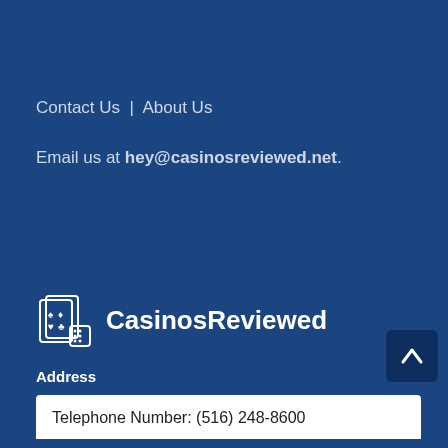Contact Us | About Us
Email us at hey@casinosreviewed.net.
[Figure (logo): CasinosReviewed logo with playing cards and dice icon, white text on blue background]
Address
Telephone Number: (516) 248-8600